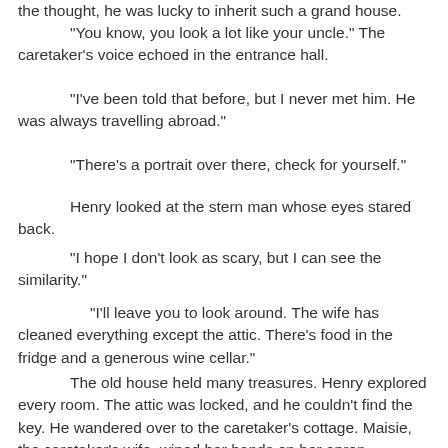the thought, he was lucky to inherit such a grand house.
“You know, you look a lot like your uncle.” The caretaker’s voice echoed in the entrance hall.
“I’ve been told that before, but I never met him. He was always travelling abroad.”
“There’s a portrait over there, check for yourself.”
Henry looked at the stern man whose eyes stared back.
“I hope I don’t look as scary, but I can see the similarity.”
“I’ll leave you to look around. The wife has cleaned everything except the attic. There’s food in the fridge and a generous wine cellar.”
The old house held many treasures. Henry explored every room. The attic was locked, and he couldn’t find the key. He wandered over to the caretaker’s cottage. Maisie, the caretaker’s wife, wiped her hands on her apron.
“Albert locked it after the accident and gave me the key. He said evil was locked away, so I never opened it.”